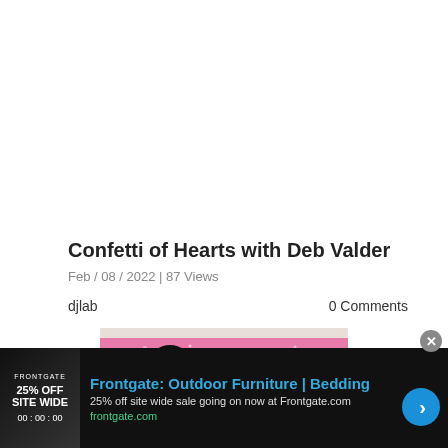Confetti of Hearts with Deb Valder
Feb / 08 / 2022 | 87 Views
djlab
0 Comments
[Figure (photo): Partial view of a pink glitter card with black decorative heart/confetti pattern]
[Figure (infographic): Advertisement banner: Frontgate Outdoor Furniture Bedding, 25% off site wide sale going on now at Frontgate.com]